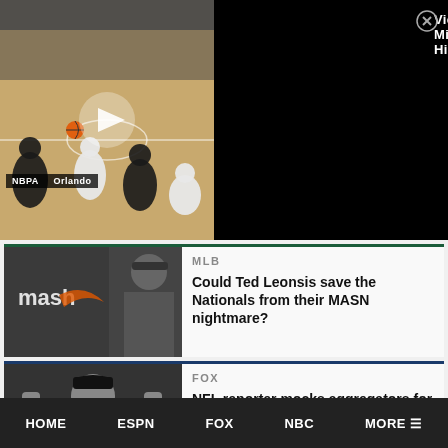[Figure (screenshot): Basketball video player showing NBPA vs Orlando game with play button overlay and 'Victorius Miller Highlights' title on black background]
Victorius Miller Highlights
NBPA    Orlando
[Figure (photo): MASN logo with person in baseball cap in background]
MLB
Could Ted Leonsis save the Nationals from their MASN nightmare?
[Figure (photo): Person in Tampa Bay Buccaneers cap at press conference raising fists]
FOX
NFL reporter mocks aggregators for running
HOME
ESPN
FOX
NBC
MORE ☰